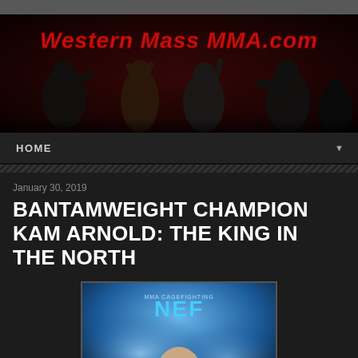[Figure (photo): Western Mass MMA.com website header banner with fighters and red logo text]
HOME
January 30, 2019
BANTAMWEIGHT CHAMPION KAM ARNOLD: THE KING IN THE NORTH
[Figure (photo): NEF MMA Cagefighting promotional poster featuring a fighter portrait with blue spotlight background]